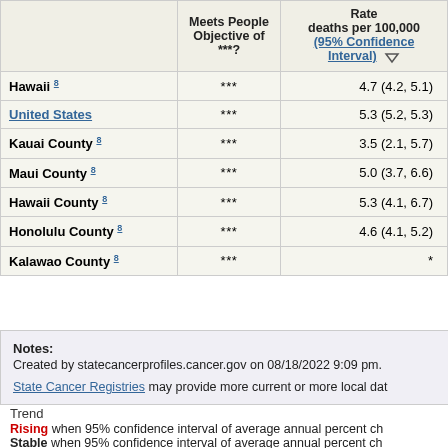|  | Meets People Objective of ***? | Rate deaths per 100,000 (95% Confidence Interval) |
| --- | --- | --- |
| Hawaii 8 | *** | 4.7 (4.2, 5.1) |
| United States | *** | 5.3 (5.2, 5.3) |
| Kauai County 8 | *** | 3.5 (2.1, 5.7) |
| Maui County 8 | *** | 5.0 (3.7, 6.6) |
| Hawaii County 8 | *** | 5.3 (4.1, 6.7) |
| Honolulu County 8 | *** | 4.6 (4.1, 5.2) |
| Kalawao County 8 | *** | * |
Notes:
Created by statecancerprofiles.cancer.gov on 08/18/2022 9:09 pm.
State Cancer Registries may provide more current or more local dat...
Trend
Rising when 95% confidence interval of average annual percent ch...
Stable when 95% confidence interval of average annual percent ch...
Falling when 95% confidence interval of average annual percent ch...